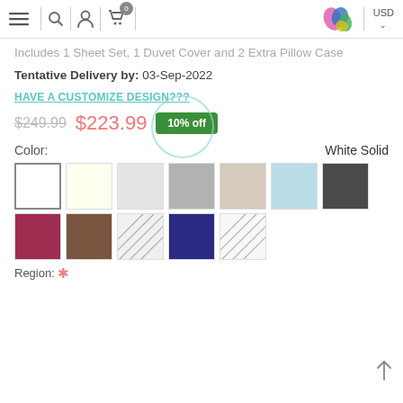Navigation bar with menu, search, account, cart (0), logo, USD
Includes 1 Sheet Set, 1 Duvet Cover and 2 Extra Pillow Case
Tentative Delivery by: 03-Sep-2022
HAVE A CUSTOMIZE DESIGN???
$249.99  $223.99  10% off
Color:  White Solid
[Figure (other): Color swatches grid: row 1: white (selected), cream/ivory, light gray, medium gray, beige/tan, light blue, dark charcoal. Row 2: rose/burgundy, brown, diagonal pattern (light), navy blue, diagonal pattern (white/light).]
Region: *